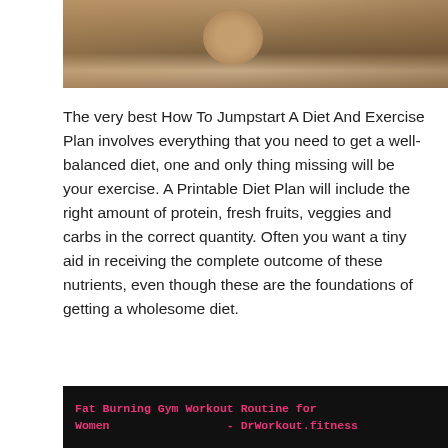[Figure (photo): Shirtless muscular torso of a person, fitness/workout related image]
The very best How To Jumpstart A Diet And Exercise Plan involves everything that you need to get a well-balanced diet, one and only thing missing will be your exercise. A Printable Diet Plan will include the right amount of protein, fresh fruits, veggies and carbs in the correct quantity. Often you want a tiny aid in receiving the complete outcome of these nutrients, even though these are the foundations of getting a wholesome diet.
[Figure (photo): Dark banner with pink text: Fat Burning Gym Workout Routine for Women - DrWorkout.fitness]